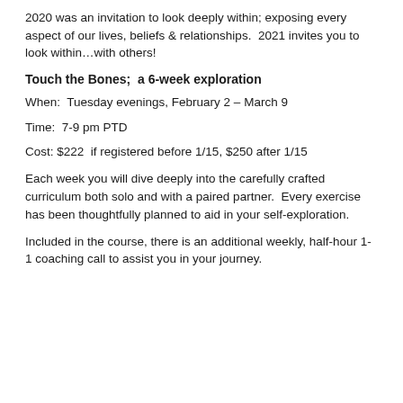2020 was an invitation to look deeply within; exposing every aspect of our lives, beliefs & relationships.  2021 invites you to look within…with others!
Touch the Bones;  a 6-week exploration
When:  Tuesday evenings, February 2 – March 9
Time:  7-9 pm PTD
Cost: $222  if registered before 1/15, $250 after 1/15
Each week you will dive deeply into the carefully crafted curriculum both solo and with a paired partner.  Every exercise has been thoughtfully planned to aid in your self-exploration.
Included in the course, there is an additional weekly, half-hour 1-1 coaching call to assist you in your journey.